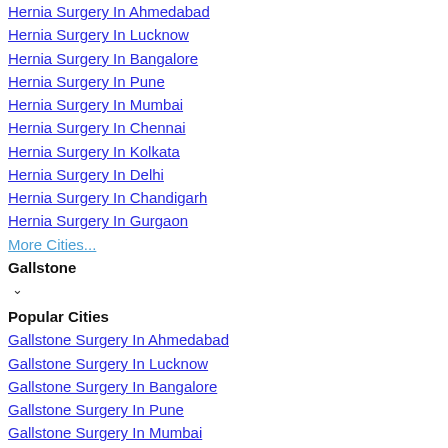Hernia Surgery In Ahmedabad
Hernia Surgery In Lucknow
Hernia Surgery In Bangalore
Hernia Surgery In Pune
Hernia Surgery In Mumbai
Hernia Surgery In Chennai
Hernia Surgery In Kolkata
Hernia Surgery In Delhi
Hernia Surgery In Chandigarh
Hernia Surgery In Gurgaon
More Cities...
Gallstone
Popular Cities
Gallstone Surgery In Ahmedabad
Gallstone Surgery In Lucknow
Gallstone Surgery In Bangalore
Gallstone Surgery In Pune
Gallstone Surgery In Mumbai
Gallstone Surgery In Chennai
Gallstone Surgery In Kolkata
Gallstone Surgery In Delhi
Gallstone Surgery In Chandigarh
Gallstone Surgery In Gurgaon
More Cities...